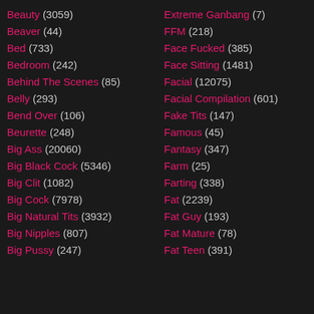Beauty (3059)
Beaver (44)
Bed (733)
Bedroom (242)
Behind The Scenes (85)
Belly (293)
Bend Over (106)
Beurette (248)
Big Ass (20060)
Big Black Cock (5346)
Big Clit (1082)
Big Cock (7978)
Big Natural Tits (3932)
Big Nipples (807)
Big Pussy (247)
Extreme Ganbang (7)
FFM (218)
Face Fucked (385)
Face Sitting (1481)
Facial (12075)
Facial Compilation (601)
Fake Tits (147)
Famous (45)
Fantasy (347)
Farm (25)
Farting (338)
Fat (2239)
Fat Guy (193)
Fat Mature (78)
Fat Teen (391)